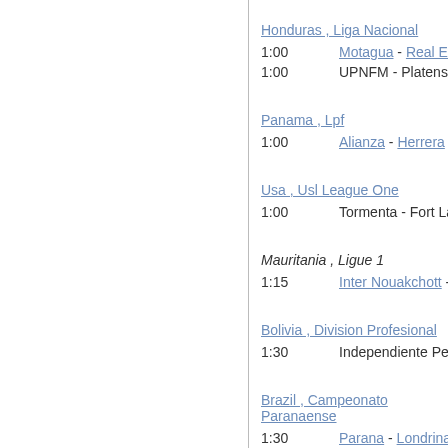Honduras , Liga Nacional
1:00   Motagua - Real Esp
1:00   UPNFM - Platens
Panama , Lpf
1:00   Alianza - Herrera
Usa , Usl League One
1:00   Tormenta - Fort Laude
Mauritania , Ligue 1
1:15   Inter Nouakchott - ASAC C
Bolivia , Division Profesional
1:30   Independiente Petroleros - W
Brazil , Campeonato Paranaense
1:30   Parana - Londrina
Australia , Brisbane Premier League